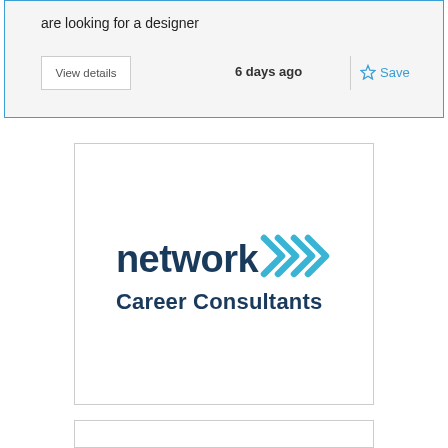are looking for a designer
View details
6 days ago
Save
[Figure (logo): Network Career Consultants logo: the word 'network' in dark navy bold font followed by stylized double chevron arrows in teal/blue, with 'Career Consultants' in dark navy bold below]